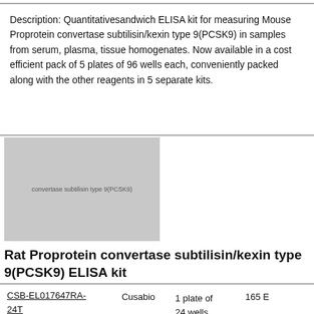Description: Quantitativesandwich ELISA kit for measuring Mouse Proprotein convertase subtilisin/kexin type 9(PCSK9) in samples from serum, plasma, tissue homogenates. Now available in a cost efficient pack of 5 plates of 96 wells each, conveniently packed along with the other reagents in 5 separate kits.
[Figure (photo): Product image placeholder for Rat Proprotein convertase subtilisin/kexin type 9(PCSK9) ELISA kit, grey rectangle with faint text overlay]
Rat Proprotein convertase subtilisin/kexin type 9(PCSK9) ELISA kit
| Catalog ID | Supplier | Quantity | Price |
| --- | --- | --- | --- |
| CSB-EL017647RA-24T | Cusabio | 1 plate of 24 wells | 165 E |
Description: Quantitativecompetitive ELISA kit for measuring